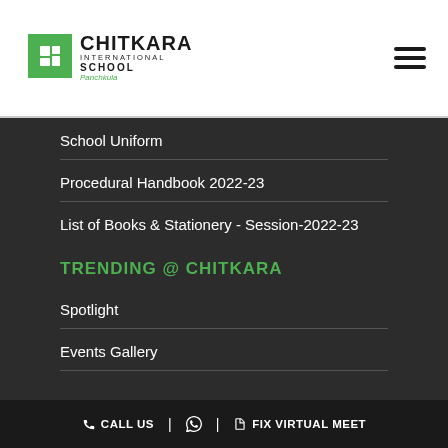[Figure (logo): Chitkara International School Panchkula logo with green icon]
School Uniform
Procedural Handbook 2022-23
List of Books & Stationery - Session-2022-23
TRENDING @ CHITKARA
Spotlight
Events Gallery
CALL US | [whatsapp icon] | FIX VIRTUAL MEET